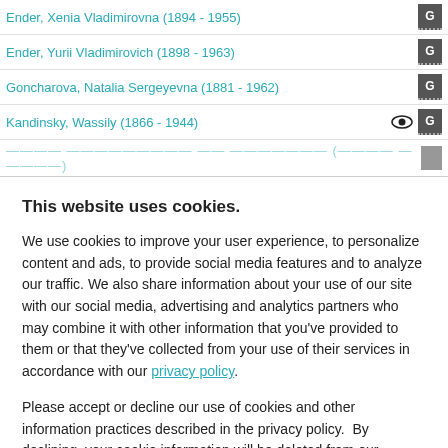Ender, Xenia Vladimirovna (1894 - 1955)
Ender, Yurii Vladimirovich (1898 - 1963)
Goncharova, Natalia Sergeyevna (1881 - 1962)
Kandinsky, Wassily (1866 - 1944)
This website uses cookies.
We use cookies to improve your user experience, to personalize content and ads, to provide social media features and to analyze our traffic. We also share information about your use of our site with our social media, advertising and analytics partners who may combine it with other information that you've provided to them or that they've collected from your use of their services in accordance with our privacy policy.
Please accept or decline our use of cookies and other information practices described in the privacy policy.  By declining, your cookie information will be deleted from our systems and our site may not function as intended.